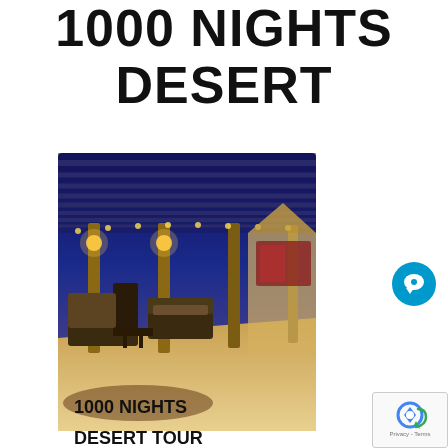1000 NIGHTS DESERT
[Figure (photo): A desert camp at night with wooden pergola structure, string lights, outdoor seating with dark wooden furniture, cushioned chairs and sofas, warm lighting, blue twilight sky in background]
1000 NIGHTS

DESERT TOUR